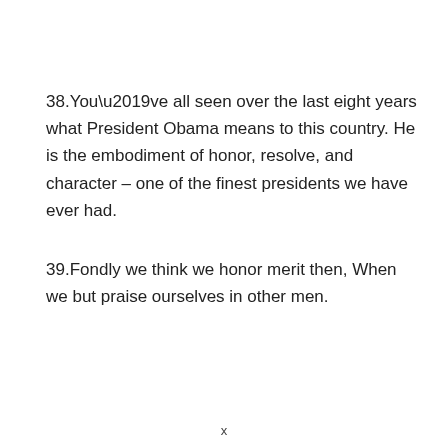38.You’ve all seen over the last eight years what President Obama means to this country. He is the embodiment of honor, resolve, and character – one of the finest presidents we have ever had.
39.Fondly we think we honor merit then, When we but praise ourselves in other men.
x